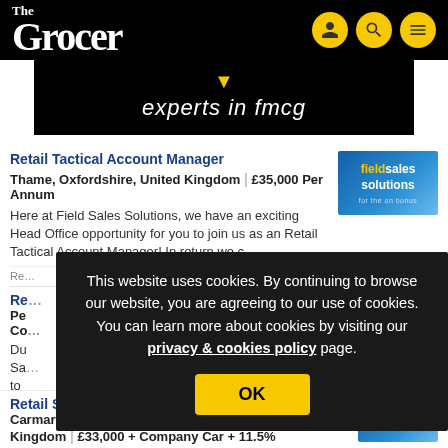The Grocer
[Figure (logo): The Grocer website logo with icons for user, search, and menu]
[Figure (infographic): Black banner with yellow chevron and text 'experts in fmcg']
Retail Tactical Account Manager
Thame, Oxfordshire, United Kingdom | £35,000 Per Annum
Here at Field Sales Solutions, we have an exciting Head Office opportunity for you to join us as an Retail Tactical Account Manager! In return we c...
This website uses cookies. By continuing to browse our website, you are agreeing to our use of cookies. You can learn more about cookies by visiting our privacy & cookies policy page.
Retail Sales Manager
Carmarthen, Carmarthenshire, United Kingdom | £33,000 + Company Car + 11.5%